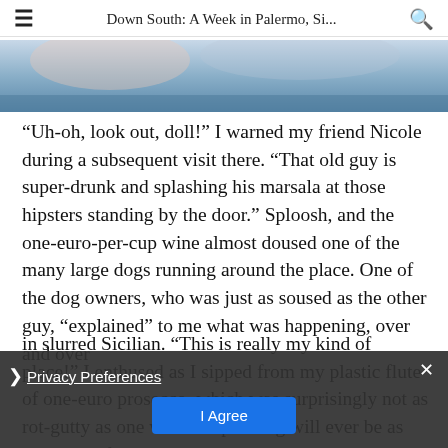Down South: A Week in Palermo, Si...
[Figure (photo): Partial photo strip at top of article showing a scene from Palermo, blue tones visible]
“Uh-oh, look out, doll!” I warned my friend Nicole during a subsequent visit there. “That old guy is super-drunk and splashing his marsala at those hipsters standing by the door.” Sploosh, and the one-euro-per-cup wine almost doused one of the many large dogs running around the place. One of the dog owners, who was just as soused as the other guy, “explained” to me what was happening, over and over in slurred Sicilian. “This is really my kind of place!” I enthused as I sipped from my plastic flute of one-euro prosecco, which was surprisingly not as rot-gutty as one would exp…hing will ever be as bad as the free midnight “champagne” served at
Privacy Preferences
I Agree